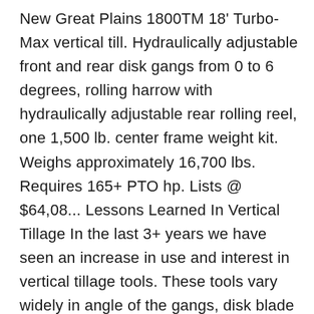New Great Plains 1800TM 18' Turbo-Max vertical till. Hydraulically adjustable front and rear disk gangs from 0 to 6 degrees, rolling harrow with hydraulically adjustable rear rolling reel, one 1,500 lb. center frame weight kit. Weighs approximately 16,700 lbs. Requires 165+ PTO hp. Lists @ $64,08... Lessons Learned In Vertical Tillage In the last 3+ years we have seen an increase in use and interest in vertical tillage tools. These tools vary widely in angle of the gangs, disk blade types, and horsepower requirements. In our area we typically see five different models; Landoll VT Plus, Case-IH 330 Turbo, Great Plains Turbo-till, Salford RTS, and the Kuhn-Krause Excelerator. All of these